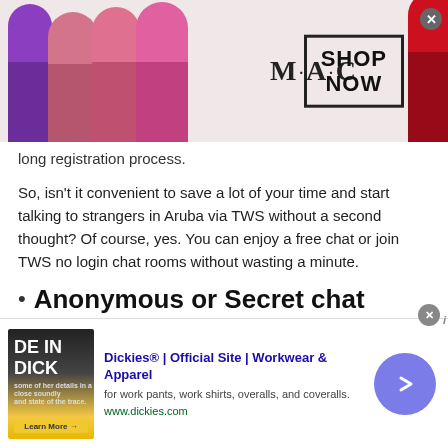[Figure (photo): MAC cosmetics advertisement banner showing lipsticks in purple, pink and red colors, MAC logo, and SHOP NOW box]
long registration process.
So, isn't it convenient to save a lot of your time and start talking to strangers in Aruba via TWS without a second thought? Of course, yes. You can enjoy a free chat or join TWS no login chat rooms without wasting a minute.
Anonymous or Secret chat
Talking to strangers in Aruba is completely
[Figure (other): Scroll to top button with up chevron on teal/cyan background]
[Figure (other): Dickies advertisement banner — Dickies Official Site, Workwear & Apparel, for work pants, work shirts, overalls, and coveralls. www.dickies.com]